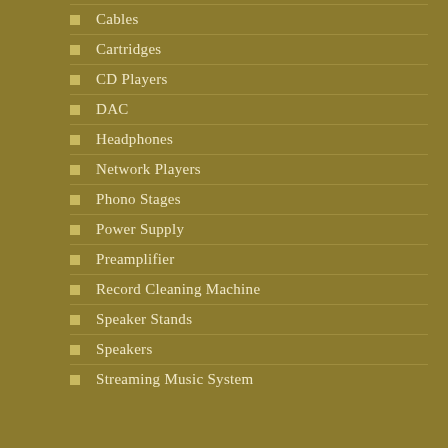Cables
Cartridges
CD Players
DAC
Headphones
Network Players
Phono Stages
Power Supply
Preamplifier
Record Cleaning Machine
Speaker Stands
Speakers
Streaming Music System